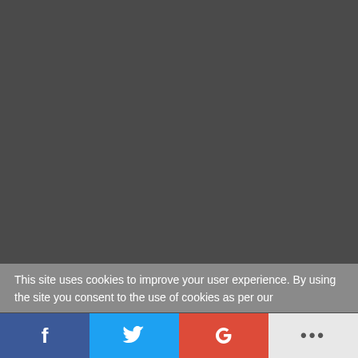Essential Reading for New Entrepreneurs
How Much Money Can I Make Online?
Blogging: Is it Right for You?
8 Recession-Proof Product & Service Ideas for Affiliates
ADMIN
Contact
This site uses cookies to improve your user experience. By using the site you consent to the use of cookies as per our
[Figure (infographic): Social sharing bar with Facebook, Twitter, Google+, and more (ellipsis) buttons]